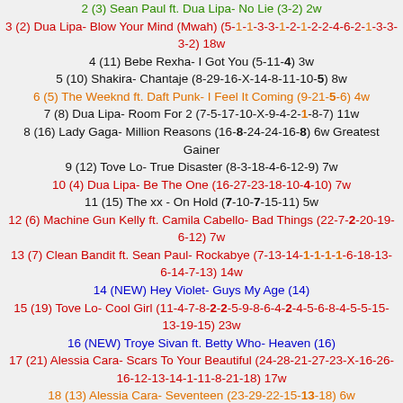2 (3) Sean Paul ft. Dua Lipa- No Lie (3-2) 2w
3 (2) Dua Lipa- Blow Your Mind (Mwah) (5-1-1-3-3-1-2-1-2-2-4-6-2-1-3-3-3-2) 18w
4 (11) Bebe Rexha- I Got You (5-11-4) 3w
5 (10) Shakira- Chantaje (8-29-16-X-14-8-11-10-5) 8w
6 (5) The Weeknd ft. Daft Punk- I Feel It Coming (9-21-5-6) 4w
7 (8) Dua Lipa- Room For 2 (7-5-17-10-X-9-4-2-1-8-7) 11w
8 (16) Lady Gaga- Million Reasons (16-8-24-24-16-8) 6w Greatest Gainer
9 (12) Tove Lo- True Disaster (8-3-18-4-6-12-9) 7w
10 (4) Dua Lipa- Be The One (16-27-23-18-10-4-10) 7w
11 (15) The xx - On Hold (7-10-7-15-11) 5w
12 (6) Machine Gun Kelly ft. Camila Cabello- Bad Things (22-7-2-20-19-6-12) 7w
13 (7) Clean Bandit ft. Sean Paul- Rockabye (7-13-14-1-1-1-1-6-18-13-6-14-7-13) 14w
14 (NEW) Hey Violet- Guys My Age (14)
15 (19) Tove Lo- Cool Girl (11-4-7-8-2-2-5-9-8-6-4-2-4-5-6-8-4-5-5-15-13-19-15) 23w
16 (NEW) Troye Sivan ft. Betty Who- Heaven (16)
17 (21) Alessia Cara- Scars To Your Beautiful (24-28-21-27-23-X-16-26-16-12-13-14-1-11-8-21-18) 17w
18 (13) Alessia Cara- Seventeen (23-29-22-15-13-18) 6w
19 (NEW) Snakehips & MO- Don't Leave (19)
20 (26) Britney Spears ft. Tinashe- Slumber Party (27-24-X-22-26-20) 5w